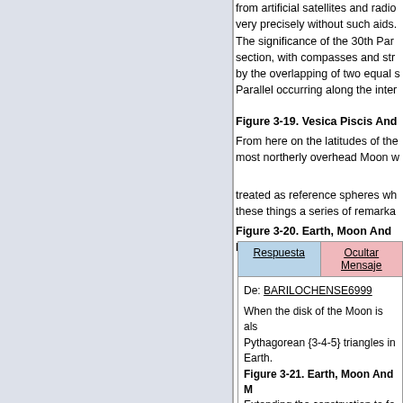from artificial satellites and radio... very precisely without such aids. The significance of the 30th Par... section, with compasses and str... by the overlapping of two equal s... Parallel occurring along the inter...
Figure 3-19. Vesica Piscis And...
From here on the latitudes of the... most northerly overhead Moon w... treated as reference spheres wh... these things a series of remarka...
Figure 3-20. Earth, Moon And ...
| Respuesta | Ocultar Mensaje |
| --- | --- |
De: BARILOCHENSE6999
When the disk of the Moon is als... Pythagorean {3-4-5} triangles in... Earth.
Figure 3-21. Earth, Moon And ...
Extending the construction to fo... be multiplied up, in this case by... numbers. This gives a unit exac... the modulus of the diagram sho... sphere, the Grand span, is subc... equal to a modern English or l...